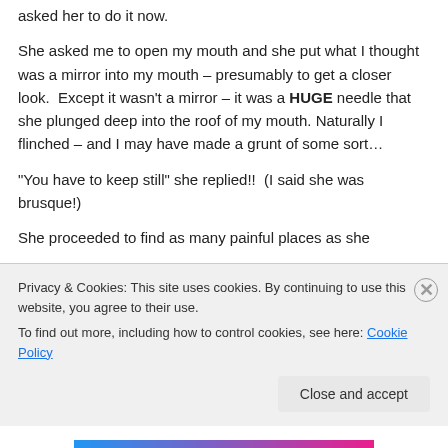asked her to do it now.
She asked me to open my mouth and she put what I thought was a mirror into my mouth – presumably to get a closer look.  Except it wasn't a mirror – it was a HUGE needle that she plunged deep into the roof of my mouth. Naturally I flinched – and I may have made a grunt of some sort…
“You have to keep still” she replied!!  (I said she was brusque!)
She proceeded to find as many painful places as she
Privacy & Cookies: This site uses cookies. By continuing to use this website, you agree to their use.
To find out more, including how to control cookies, see here: Cookie Policy
Close and accept